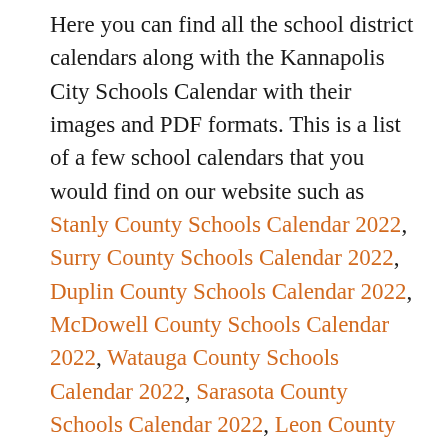Here you can find all the school district calendars along with the Kannapolis City Schools Calendar with their images and PDF formats. This is a list of a few school calendars that you would find on our website such as Stanly County Schools Calendar 2022, Surry County Schools Calendar 2022, Duplin County Schools Calendar 2022, McDowell County Schools Calendar 2022, Watauga County Schools Calendar 2022, Sarasota County Schools Calendar 2022, Leon County Schools Calendar 2022, etc. Also, know when the school starts in New York NYC in 2022-23, When Does School Start in California 2022-22, etc., and all such details there. You can also have the holidays table too with the correct